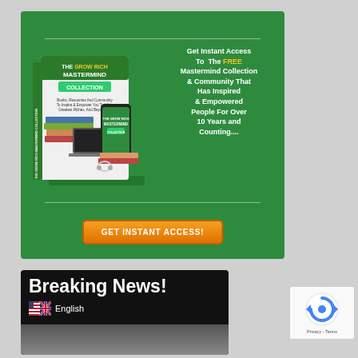[Figure (infographic): Green background advertisement banner for 'The Grow Rich Mastermind Collection'. Shows a white box product with books and a smartphone on the left side. Right side has white text: 'Get Instant Access To The FREE Mastermind Collection & Community That Has Inspired & Empowered People For Over 10 Years and Counting....'. Orange CTA button at bottom: 'GET INSTANT ACCESS!'. Horizontal lines top and bottom.]
[Figure (screenshot): Breaking News section with black background. Shows 'Breaking News!' in large bold white text. Below is a US flag and UK flag icon next to the word 'English'. Partially visible image of people at the bottom.]
[Figure (screenshot): reCAPTCHA badge in bottom right corner showing Google reCAPTCHA logo (blue circular arrows icon) and text 'Privacy - Terms']